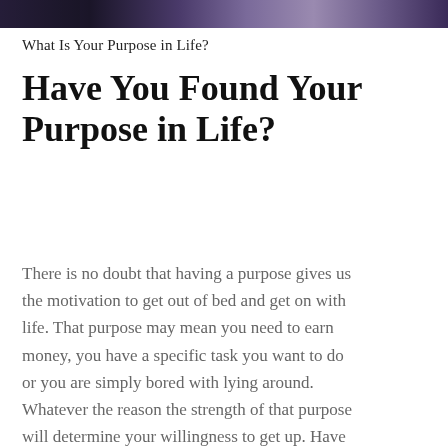[Figure (photo): Partial photo at top of page showing a blurred purple/dark background scene, cropped to a narrow horizontal strip]
What Is Your Purpose in Life?
Have You Found Your Purpose in Life?
There is no doubt that having a purpose gives us the motivation to get out of bed and get on with life. That purpose may mean you need to earn money, you have a specific task you want to do or you are simply bored with lying around. Whatever the reason the strength of that purpose will determine your willingness to get up. Have You Found Your